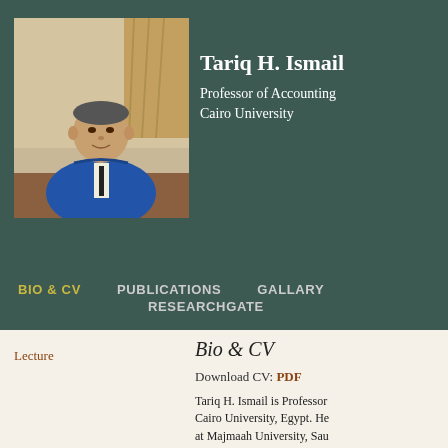[Figure (photo): Portrait photo of Tariq H. Ismail in a blue suit sitting at a desk]
Tariq H. Ismail
Professor of Accounting
Cairo University
BIO & CV   PUBLICATIONS   GALLARY
RESEARCHGATE
Lecture
Bio & CV
Download CV: PDF
Tariq H. Ismail is Professor Cairo University, Egypt. He at Majmaah University, Sau towards the development of